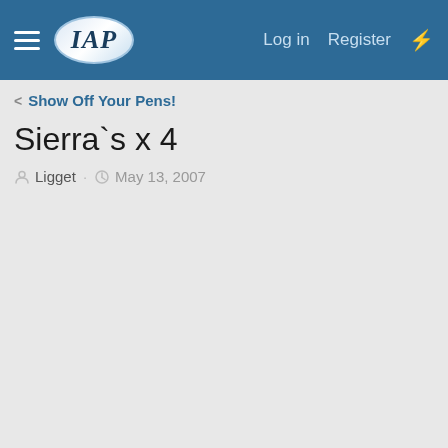IAP — Log in  Register
< Show Off Your Pens!
Sierra`s x 4
Ligget · May 13, 2007